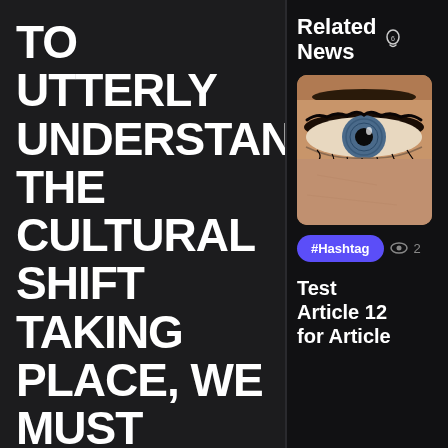TO UTTERLY UNDERSTAND THE CULTURAL SHIFT TAKING PLACE, WE MUST FIRST LOOK TO HISTORY BEFORE WE CAN LOOK TO THE FUTURE.
It's important to remember that the first commercial corporation (or company) didn't
Related News
[Figure (photo): Close-up photo of a human eye with detailed iris and skin texture]
#Hashtag
Test Article 12 for Article